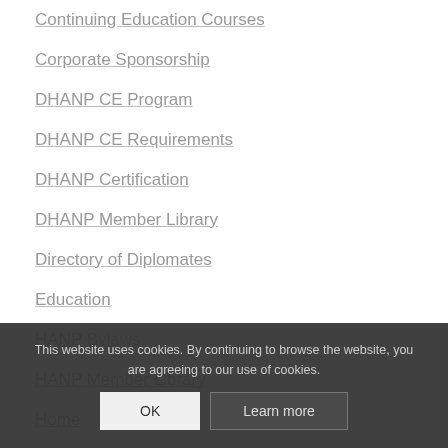Continuing Education Courses
Corporate Sponsorship
DHANP CE Program
DHANP CE Requirements
DHANP Certification
DHANP Member Library
Directory of Diplomates
Education
HANP Bylaws
HANP Member Library
Home
Homeopathic
This website uses cookies. By continuing to browse the website, you are agreeing to our use of cookies.